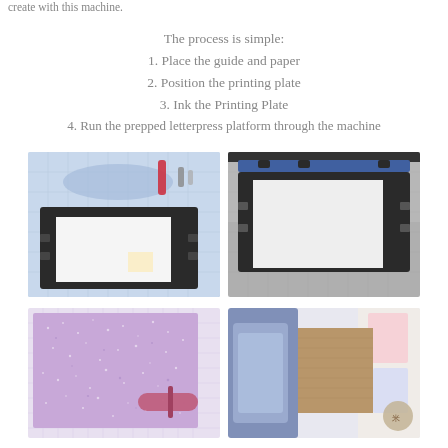create with this machine.
The process is simple:
1. Place the guide and paper
2. Position the printing plate
3. Ink the Printing Plate
4. Run the prepped letterpress platform through the machine
[Figure (photo): A letterpress guide and paper placed on a cutting mat with tools nearby, showing a white card on a black letterpress platform]
[Figure (photo): A printing plate being positioned on a letterpress guide on a cutting mat, showing a black letterpress platform with white card]
[Figure (photo): Inking the printing plate with a purple glittery texture and a roller/brayer tool visible]
[Figure (photo): Running the prepped letterpress platform through the machine, showing a blue machine pressing on a brown/kraft card with decorative papers nearby]